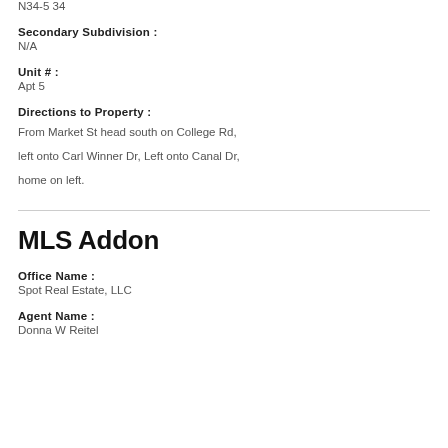N34-5 34
Secondary Subdivision :
N/A
Unit # :
Apt 5
Directions to Property :
From Market St head south on College Rd, left onto Carl Winner Dr, Left onto Canal Dr, home on left.
MLS Addon
Office Name :
Spot Real Estate, LLC
Agent Name :
Donna W Reitel